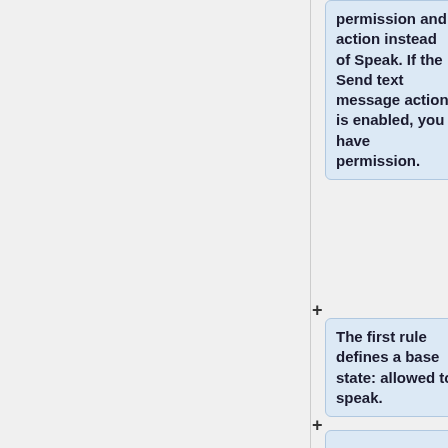permission and action instead of Speak. If the Send text message action is enabled, you have permission.
The first rule defines a base state: allowed to speak.
For the